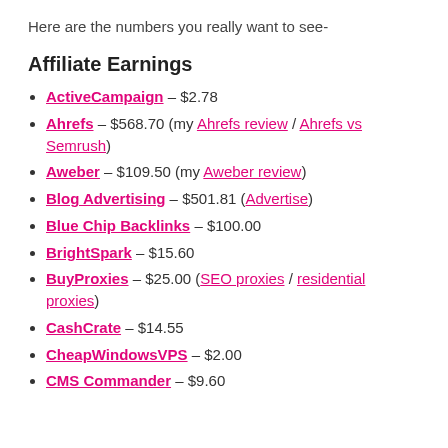Here are the numbers you really want to see-
Affiliate Earnings
ActiveCampaign – $2.78
Ahrefs – $568.70 (my Ahrefs review / Ahrefs vs Semrush)
Aweber – $109.50 (my Aweber review)
Blog Advertising – $501.81 (Advertise)
Blue Chip Backlinks – $100.00
BrightSpark – $15.60
BuyProxies – $25.00 (SEO proxies / residential proxies)
CashCrate – $14.55
CheapWindowsVPS – $2.00
CMS Commander – $9.60